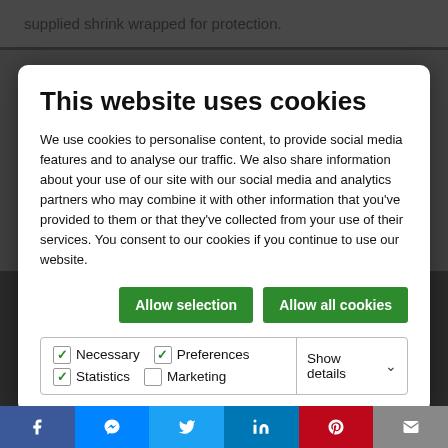supplied shrink wrapped for protection.
This website uses cookies
We use cookies to personalise content, to provide social media features and to analyse our traffic. We also share information about your use of our site with our social media and analytics partners who may combine it with other information that you've provided to them or that they've collected from your use of their services. You consent to our cookies if you continue to use our website.
[Figure (screenshot): Cookie consent dialog with Allow selection and Allow all cookies buttons, and checkboxes for Necessary, Preferences, Statistics, Marketing]
[Figure (photo): People sitting at a table with blue tablecloth]
[Figure (infographic): Social media share bar at bottom with Facebook, Messenger, Twitter, LinkedIn, Pinterest, Email buttons]